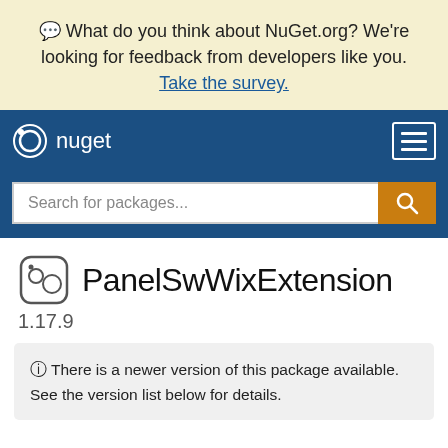💬 What do you think about NuGet.org? We're looking for feedback from developers like you. Take the survey.
nuget
Search for packages...
PanelSwWixExtension
1.17.9
ⓘ There is a newer version of this package available. See the version list below for details.